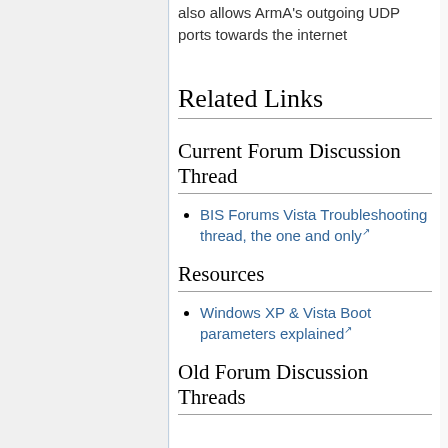also allows ArmA's outgoing UDP ports towards the internet
Related Links
Current Forum Discussion Thread
BIS Forums Vista Troubleshooting thread, the one and only
Resources
Windows XP & Vista Boot parameters explained
Old Forum Discussion Threads